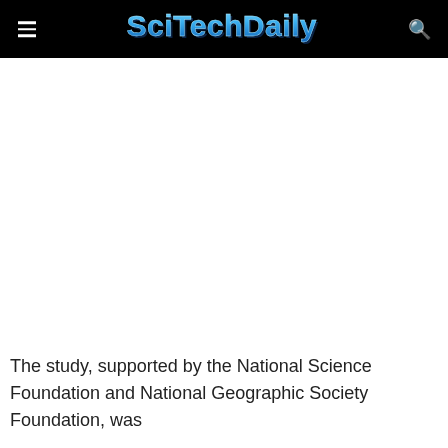SciTechDaily
The study, supported by the National Science Foundation and National Geographic Society Foundation, was